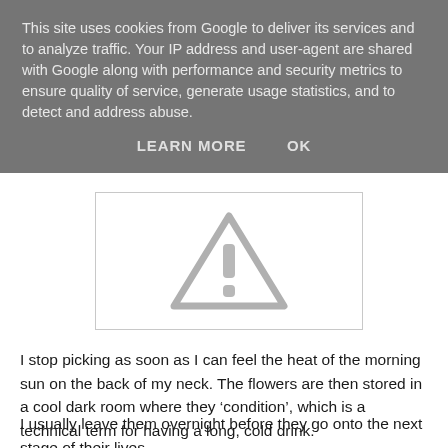This site uses cookies from Google to deliver its services and to analyze traffic. Your IP address and user-agent are shared with Google along with performance and security metrics to ensure quality of service, generate usage statistics, and to detect and address abuse.
LEARN MORE    OK
[Figure (other): Warning/error image placeholder showing a triangular warning sign with exclamation mark, light grey on white background, inside a bordered rectangle]
I stop picking as soon as I can feel the heat of the morning sun on the back of my neck. The flowers are then stored in a cool dark room where they ‘condition’, which is a technical term for having a long, cold drink.
I usually leave them overnight before they go onto the next stage of their lives.